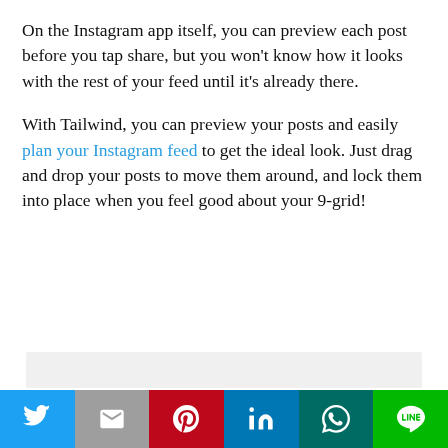On the Instagram app itself, you can preview each post before you tap share, but you won't know how it looks with the rest of your feed until it's already there.
With Tailwind, you can preview your posts and easily plan your Instagram feed to get the ideal look. Just drag and drop your posts to move them around, and lock them into place when you feel good about your 9-grid!
[Figure (other): Gray placeholder box]
[Figure (infographic): Social share bar with Twitter, Gmail, Pinterest, LinkedIn, WhatsApp, and LINE buttons]